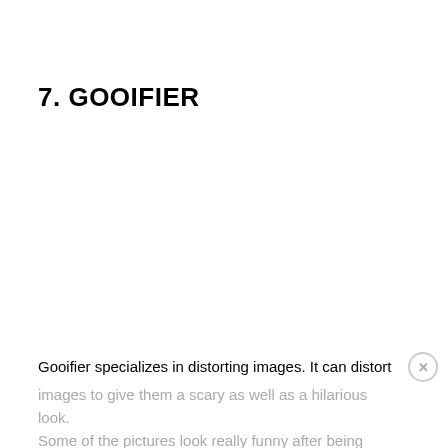7. GOOIFIER
Gooifier specializes in distorting images. It can distort images to give them a scary as well as a hilarious look. Some of the pictures look really funny after being